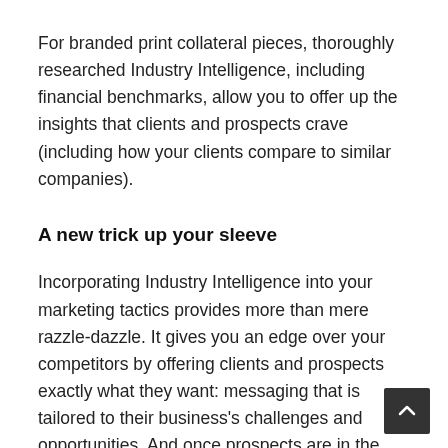For branded print collateral pieces, thoroughly researched Industry Intelligence, including financial benchmarks, allow you to offer up the insights that clients and prospects crave (including how your clients compare to similar companies).
A new trick up your sleeve
Incorporating Industry Intelligence into your marketing tactics provides more than mere razzle-dazzle. It gives you an edge over your competitors by offering clients and prospects exactly what they want: messaging that is tailored to their business's challenges and opportunities. And once prospects are in the door, your partners will be better equipped to offer